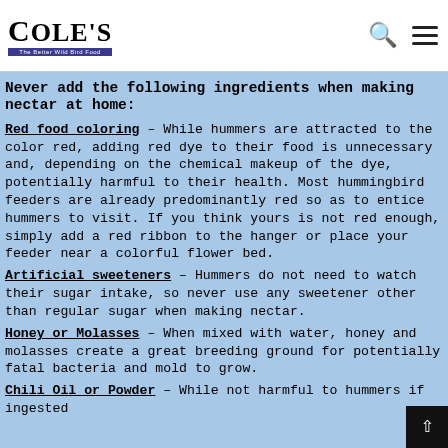[Figure (logo): Cole's Wild Bird Food logo with search and menu icons]
Never add the following ingredients when making nectar at home:
Red food coloring – While hummers are attracted to the color red, adding red dye to their food is unnecessary and, depending on the chemical makeup of the dye, potentially harmful to their health. Most hummingbird feeders are already predominantly red so as to entice hummers to visit. If you think yours is not red enough, simply add a red ribbon to the hanger or place your feeder near a colorful flower bed.
Artificial sweeteners – Hummers do not need to watch their sugar intake, so never use any sweetener other than regular sugar when making nectar.
Honey or Molasses – When mixed with water, honey and molasses create a great breeding ground for potentially fatal bacteria and mold to grow.
Chili Oil or Powder – While not harmful to hummers if ingested…